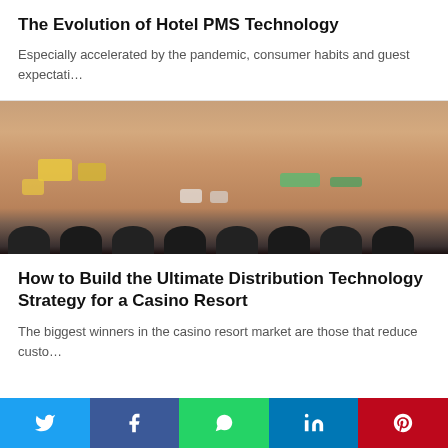The Evolution of Hotel PMS Technology
Especially accelerated by the pandemic, consumer habits and guest expectati…
[Figure (photo): Blurred photo of a casino resort table with colorful chips (yellow, green, white) and dark seat backs in the foreground, warm wood-toned background]
How to Build the Ultimate Distribution Technology Strategy for a Casino Resort
The biggest winners in the casino resort market are those that reduce custo…
[Figure (infographic): Social sharing bar with Twitter, Facebook, WhatsApp, LinkedIn, and Pinterest buttons]